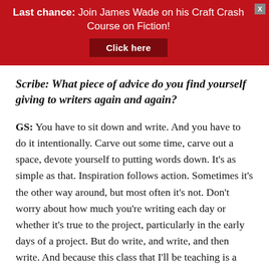Last chance: Join James Wade on his Craft Crash Course on Fiction! Click here
Scribe: What piece of advice do you find yourself giving to writers again and again?
GS: You have to sit down and write. And you have to do it intentionally. Carve out some time, carve out a space, devote yourself to putting words down. It's as simple as that. Inspiration follows action. Sometimes it's the other way around, but most often it's not. Don't worry about how much you're writing each day or whether it's true to the project, particularly in the early days of a project. But do write, and write, and then write. And because this class that I'll be teaching is a